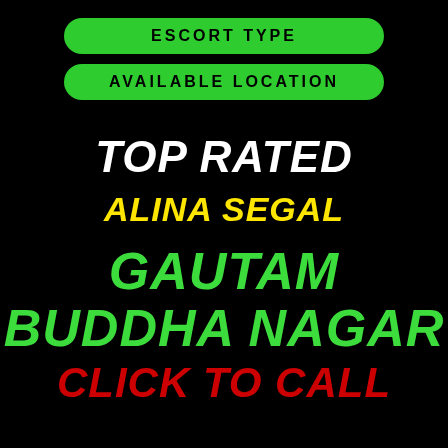ESCORT TYPE
AVAILABLE LOCATION
TOP RATED
ALINA SEGAL
GAUTAM BUDDHA NAGAR
CLICK TO CALL